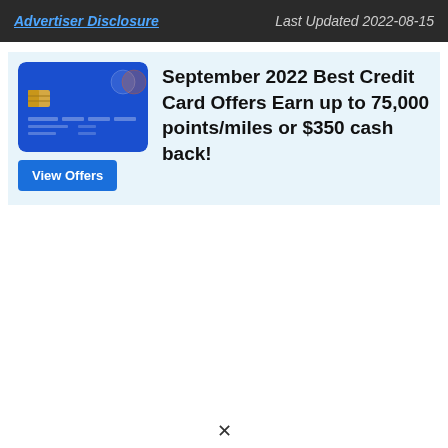Advertiser Disclosure   Last Updated 2022-08-15
[Figure (illustration): Blue credit card image with chip visible]
September 2022 Best Credit Card Offers Earn up to 75,000 points/miles or $350 cash back!
View Offers